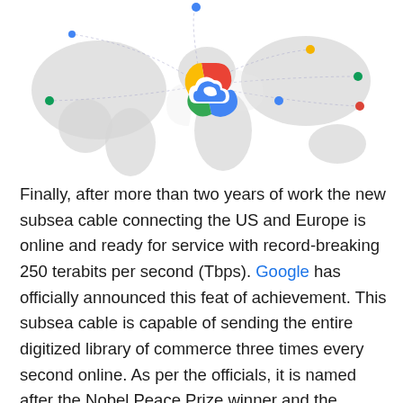[Figure (illustration): Google Cloud logo centered over a light grey world map silhouette, with colored dots (blue, yellow, green, red) at various geographic locations connected by thin dashed arc lines radiating from the logo center]
Finally, after more than two years of work the new subsea cable connecting the US and Europe is online and ready for service with record-breaking 250 terabits per second (Tbps). Google has officially announced this feat of achievement. This subsea cable is capable of sending the entire digitized library of commerce three times every second online. As per the officials, it is named after the Nobel Peace Prize winner and the founder of the Red Cross, Henry Dunant.